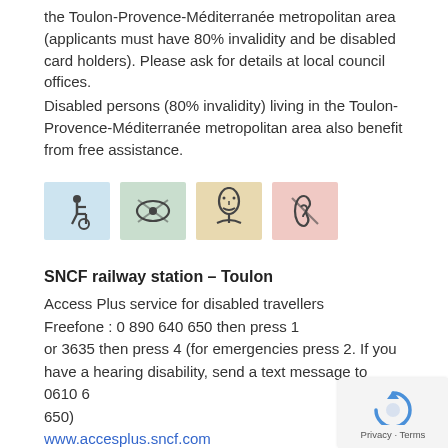the Toulon-Provence-Méditerranée metropolitan area (applicants must have 80% invalidity and be disabled card holders). Please ask for details at local council offices.
Disabled persons (80% invalidity) living in the Toulon-Provence-Méditerranée metropolitan area also benefit from free assistance.
[Figure (illustration): Four accessibility icons: wheelchair user (blue background), eye/vision (green background), face/speech (yellow background), ear/hearing (pink background)]
SNCF railway station – Toulon
Access Plus service for disabled travellers
Freefone : 0 890 640 650 then press 1
or 3635 then press 4 (for emergencies press 2. If you have a hearing disability, send a text message to 0610 6 650)
www.accesplus.sncf.com
Access Plus is a service...